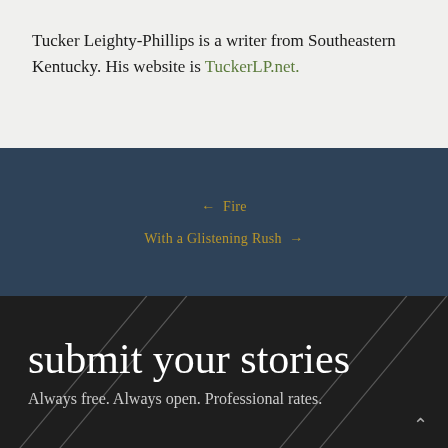Tucker Leighty-Phillips is a writer from Southeastern Kentucky. His website is TuckerLP.net.
← Fire
With a Glistening Rush →
submit your stories
Always free. Always open. Professional rates.